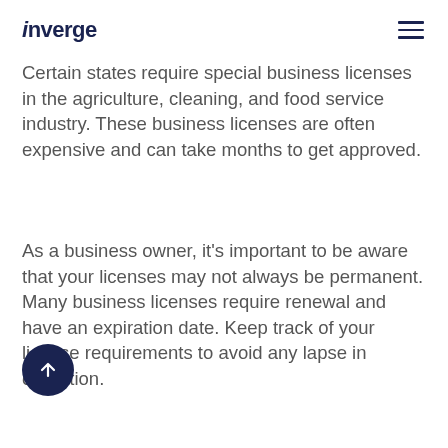inverge
Certain states require special business licenses in the agriculture, cleaning, and food service industry. These business licenses are often expensive and can take months to get approved.
As a business owner, it’s important to be aware that your licenses may not always be permanent. Many business licenses require renewal and have an expiration date. Keep track of your license requirements to avoid any lapse in operation.
Business owners in industries such as farming, guns, and airplanes need to submit paperwork